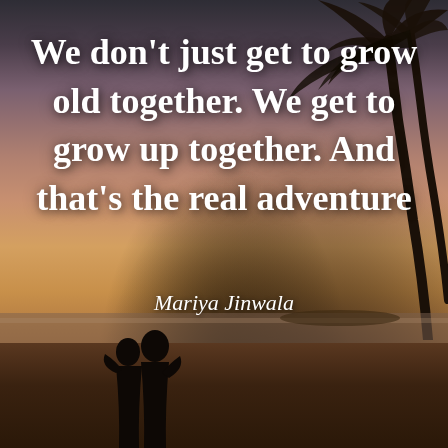[Figure (photo): Sunset beach scene with silhouettes of palm trees on the right and a couple kissing in the foreground center-left, warm orange and purple sky gradient background]
We don't just get to grow old together. We get to grow up together. And that's the real adventure
Mariya Jinwala